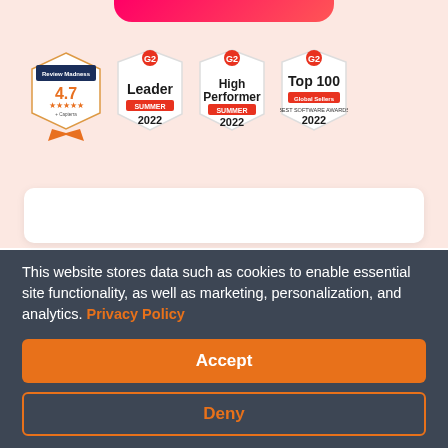[Figure (illustration): Pink/red gradient rounded bar at top of page]
[Figure (illustration): Four award badges: (1) Capterra Review Madness badge with 4.7 stars rating, (2) G2 Leader Summer 2022 badge, (3) G2 High Performer Summer 2022 badge, (4) G2 Top 100 Global Sellers 2022 badge]
[Figure (illustration): White rounded card element below badges]
This website stores data such as cookies to enable essential site functionality, as well as marketing, personalization, and analytics. Privacy Policy
Accept
Deny